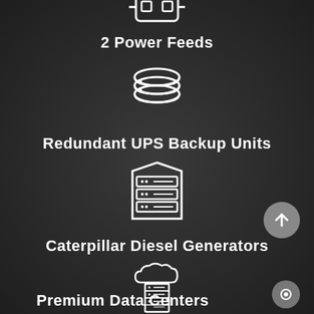[Figure (illustration): Power feeds icon - plug/connector icon at top, partially cropped]
2 Power Feeds
[Figure (illustration): Database stack icon representing Redundant UPS Backup Units]
Redundant UPS Backup Units
[Figure (illustration): Server rack icon representing Caterpillar Diesel Generators]
Caterpillar Diesel Generators
[Figure (illustration): Cloud with server rack icon representing Premium Data Centers]
Premium Data Centers